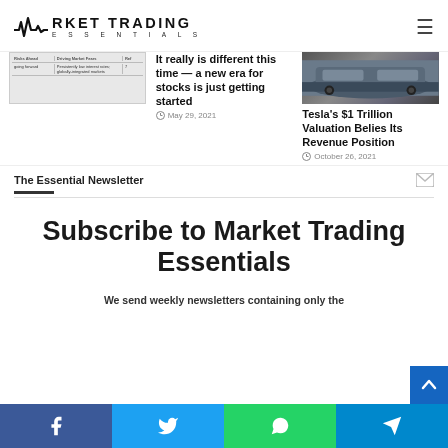Market Trading Essentials
[Figure (screenshot): Thumbnail of a table with rows showing 'going forward' and 'Persistently low interest rates; globally-integrated markets' with number 7]
It really is different this time — a new era for stocks is just getting started
May 29, 2021
[Figure (photo): Photo of a dark blue Tesla vehicle, showing the side panel and door]
Tesla's $1 Trillion Valuation Belies Its Revenue Position
October 26, 2021
The Essential Newsletter
Subscribe to Market Trading Essentials
We send weekly newsletters containing only the